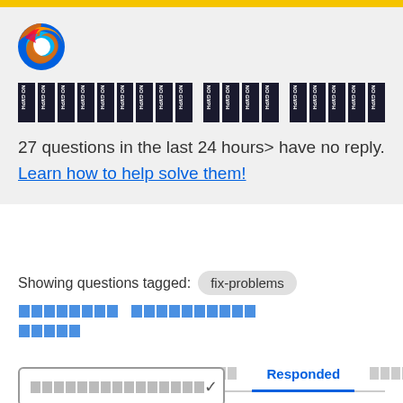[Figure (logo): Firefox browser logo - flame around globe]
[Figure (other): Row of corrupted/garbled text blocks rendering as dark vertical rectangles with white text]
27 questions in the last 24 hours> have no reply. Learn how to help solve them!
Showing questions tagged: fix-problems [link: corrupted text]
Tabs: [corrupted] [corrupted] Responded [corrupted]
[dropdown with corrupted placeholder text]